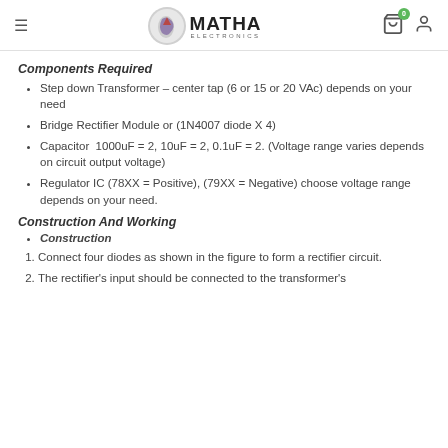MATHA ELECTRONICS
Components Required
Step down Transformer – center tap (6 or 15 or 20 VAc) depends on your need
Bridge Rectifier Module or (1N4007 diode X 4)
Capacitor  1000uF = 2, 10uF = 2, 0.1uF = 2. (Voltage range varies depends on circuit output voltage)
Regulator IC (78XX = Positive), (79XX = Negative) choose voltage range depends on your need.
Construction And Working
Construction
Connect four diodes as shown in the figure to form a rectifier circuit.
The rectifier's input should be connected to the transformer's